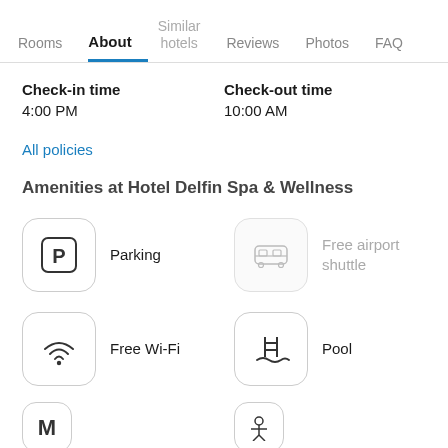Rooms | About | Similar hotels | Reviews | Photos | FAQ
Check-in time
4:00 PM
Check-out time
10:00 AM
All policies
Amenities at Hotel Delfin Spa & Wellness
Parking
Free airport shuttle
Free Wi-Fi
Pool